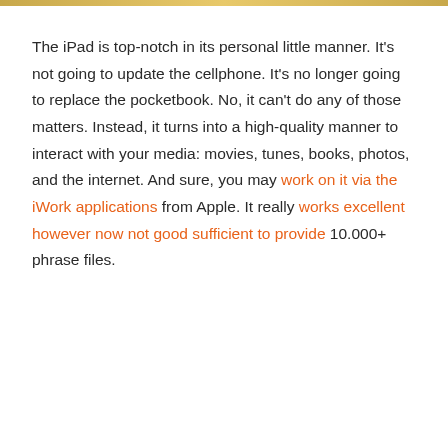The iPad is top-notch in its personal little manner. It's not going to update the cellphone. It's no longer going to replace the pocketbook. No, it can't do any of those matters. Instead, it turns into a high-quality manner to interact with your media: movies, tunes, books, photos, and the internet. And sure, you may work on it via the iWork applications from Apple. It really works excellent however now not good sufficient to provide 10.000+ phrase files.